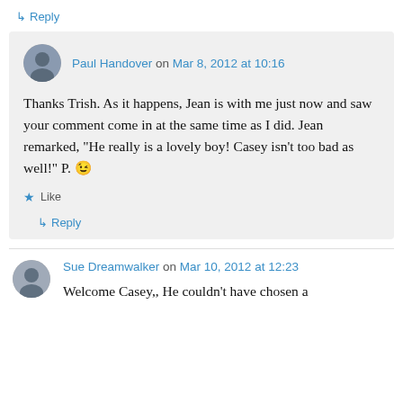↳ Reply
Paul Handover on Mar 8, 2012 at 10:16
Thanks Trish. As it happens, Jean is with me just now and saw your comment come in at the same time as I did. Jean remarked, "He really is a lovely boy! Casey isn't too bad as well!" P. 😉
★ Like
↳ Reply
Sue Dreamwalker on Mar 10, 2012 at 12:23
Welcome Casey,, He couldn't have chosen a